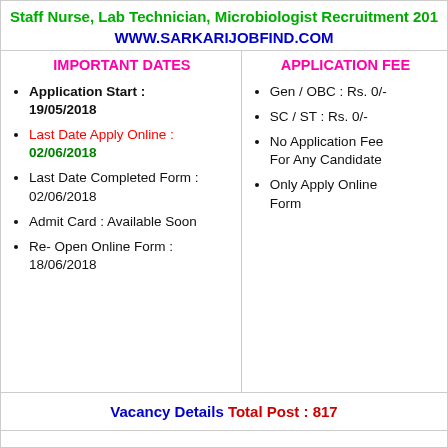Staff Nurse, Lab Technician, Microbiologist Recruitment 201…
WWW.SARKARIJOBFIND.COM
IMPORTANT DATES
APPLICATION FEE
Application Start : 19/05/2018
Last Date Apply Online : 02/06/2018
Last Date Completed Form : 02/06/2018
Admit Card : Available Soon
Re- Open Online Form : 18/06/2018
Gen / OBC : Rs. 0/-
SC / ST : Rs. 0/-
No Application Fee For Any Candidate
Only Apply Online Form
Vacancy Details Total Post : 817